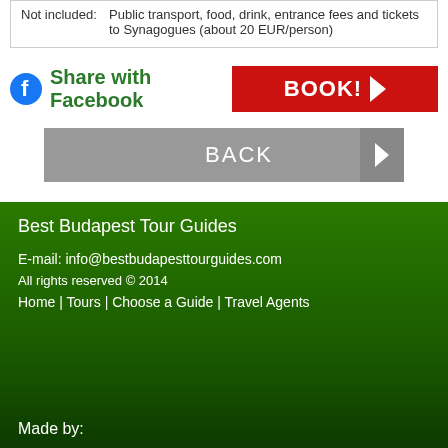| Not included: | Public transport, food, drink, entrance fees and tickets to Synagogues (about 20 EUR/person) |
Share with Facebook
BOOK!
BACK
Best Budapest Tour Guides
E-mail: info@bestbudapesttourguides.com
All rights reserved © 2014
Home | Tours | Choose a Guide | Travel Agents
Made by: